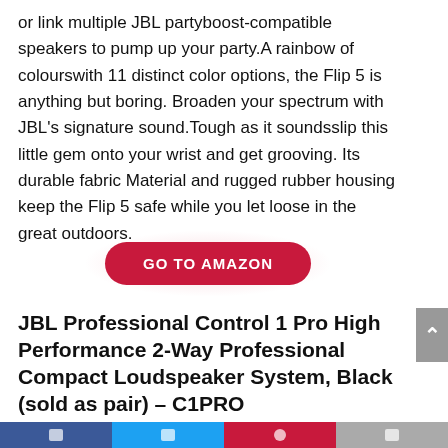or link multiple JBL partyboost-compatible speakers to pump up your party.A rainbow of colourswith 11 distinct color options, the Flip 5 is anything but boring. Broaden your spectrum with JBL's signature sound.Tough as it soundsslip this little gem onto your wrist and get grooving. Its durable fabric Material and rugged rubber housing keep the Flip 5 safe while you let loose in the great outdoors.
[Figure (other): GO TO AMAZON button — a rounded pill-shaped red button with white bold uppercase text, with a pinkish radial glow behind it]
JBL Professional Control 1 Pro High Performance 2-Way Professional Compact Loudspeaker System, Black (sold as pair) – C1PRO
Social share bar with Facebook, Twitter, Pinterest, and other icons